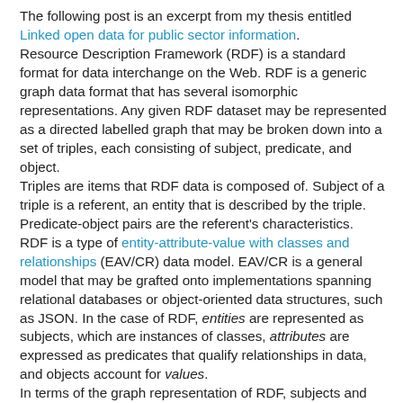The following post is an excerpt from my thesis entitled Linked open data for public sector information. Resource Description Framework (RDF) is a standard format for data interchange on the Web. RDF is a generic graph data format that has several isomorphic representations. Any given RDF dataset may be represented as a directed labelled graph that may be broken down into a set of triples, each consisting of subject, predicate, and object. Triples are items that RDF data is composed of. Subject of a triple is a referent, an entity that is described by the triple. Predicate-object pairs are the referent's characteristics. RDF is a type of entity-attribute-value with classes and relationships (EAV/CR) data model. EAV/CR is a general model that may be grafted onto implementations spanning relational databases or object-oriented data structures, such as JSON. In the case of RDF, entities are represented as subjects, which are instances of classes, attributes are expressed as predicates that qualify relationships in data, and objects account for values. In terms of the graph representation of RDF, subjects and objects form the graph's nodes. Predicates constitute the